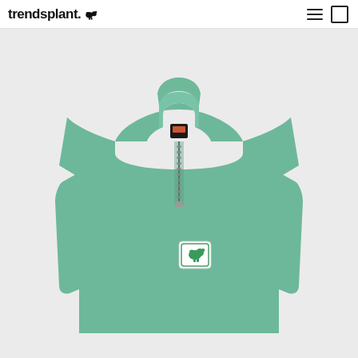trendsplant [logo icon]
[Figure (photo): A sage/mint green quarter-zip pullover sweatshirt with a fold-over collar, front zipper pull, and a small square logo patch on the lower left chest featuring a green bear/elephant graphic on a white background. A dark clothing tag is visible at the neck. The garment is laid flat on a light gray background.]